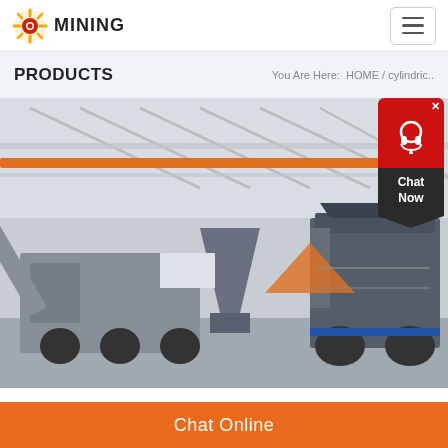[Figure (logo): Mining company logo with sun/gear icon and bold text 'MINING']
PRODUCTS
You Are Here:  HOME / cylindric..
[Figure (photo): Factory floor with large mobile mining/crushing equipment on tracked or wheeled vehicles, photographed in an industrial warehouse setting with steel roof trusses and orange overhead crane.]
Chat Now
Chat Online